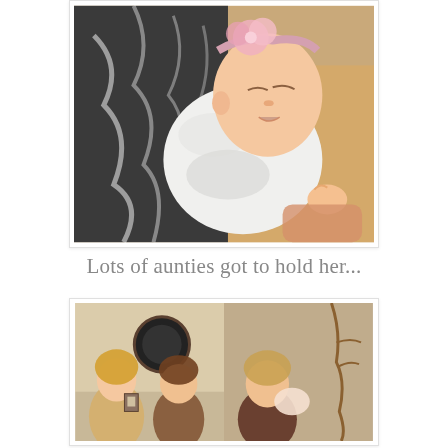[Figure (photo): A sleeping newborn baby girl wearing a pink floral headband, dressed in a white ruffled outfit, being held by an adult wearing a black and white patterned garment. The baby's eyes are closed and her mouth is slightly open.]
Lots of aunties got to hold her...
[Figure (photo): Two photos side by side showing different women (aunties) holding the newborn baby at what appears to be a family gathering.]